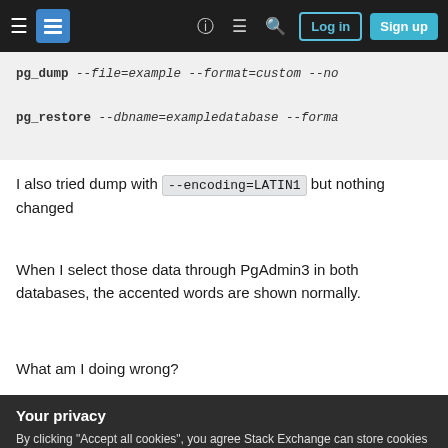Stack Exchange navigation bar with hamburger menu, logo, help, chat, search, Log in and Sign up buttons
pg_dump --file=example --format=custom --no
pg_restore --dbname=exampledatabase --forma
I also tried dump with --encoding=LATIN1 but nothing changed
When I select those data through PgAdmin3 in both databases, the accented words are shown normally.
What am I doing wrong?
Your privacy
By clicking "Accept all cookies", you agree Stack Exchange can store cookies on your device and disclose information in accordance with our Cookie Policy.
Accept all cookies
Customize settings
affecting the others?